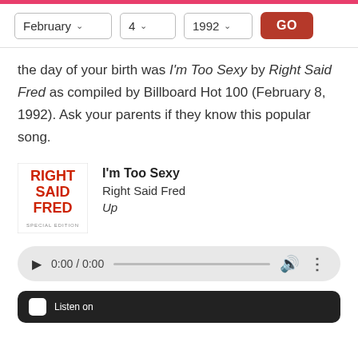February 4 1992 GO
the day of your birth was I'm Too Sexy by Right Said Fred as compiled by Billboard Hot 100 (February 8, 1992). Ask your parents if they know this popular song.
[Figure (illustration): Right Said Fred album cover - Special Edition with red text on white background]
I'm Too Sexy
Right Said Fred
Up